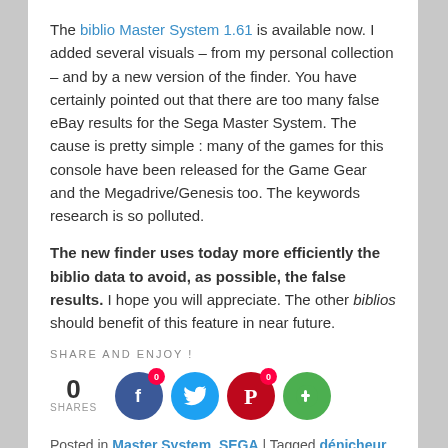The biblio Master System 1.61 is available now. I added several visuals – from my personal collection – and by a new version of the finder. You have certainly pointed out that there are too many false eBay results for the Sega Master System. The cause is pretty simple : many of the games for this console have been released for the Game Gear and the Megadrive/Genesis too. The keywords research is so polluted.
The new finder uses today more efficiently the biblio data to avoid, as possible, the false results. I hope you will appreciate. The other biblios should benefit of this feature in near future.
SHARE AND ENJOY !
[Figure (infographic): Share count showing 0 SHARES with social media icons for Facebook, Twitter, Pinterest, and a blog/Google button, each with orange badges showing 0.]
Posted in Master System, SEGA | Tagged dénicheur, Master System | Leave a reply